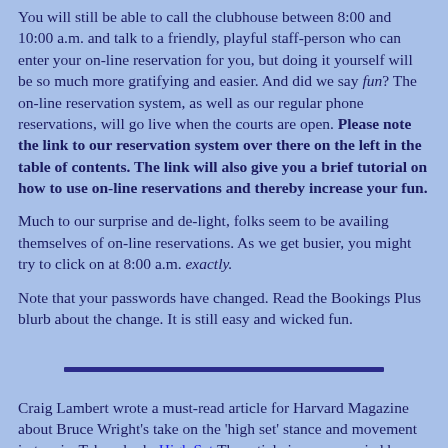You will still be able to call the clubhouse between 8:00 and 10:00 a.m. and talk to a friendly, playful staff-person who can enter your on-line reservation for you, but doing it yourself will be so much more gratifying and easier. And did we say fun? The on-line reservation system, as well as our regular phone reservations, will go live when the courts are open. Please note the link to our reservation system over there on the left in the table of contents. The link will also give you a brief tutorial on how to use on-line reservations and thereby increase your fun.
Much to our surprise and de-light, folks seem to be availing themselves of on-line reservations. As we get busier, you might try to click on at 8:00 a.m. exactly.
Note that your passwords have changed. Read the Bookings Plus blurb about the change. It is still easy and wicked fun.
[Figure (other): A horizontal dark navy/indigo divider line spanning roughly center of the page]
Craig Lambert wrote a must-read article for Harvard Magazine about Bruce Wright's take on the 'high set' stance and movement in tennis. Take a look: High Set The article is accompanied by a